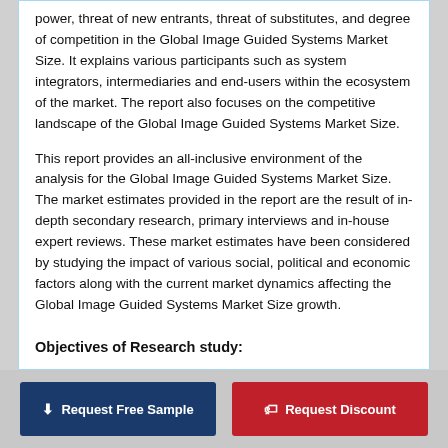power, threat of new entrants, threat of substitutes, and degree of competition in the Global Image Guided Systems Market Size. It explains various participants such as system integrators, intermediaries and end-users within the ecosystem of the market. The report also focuses on the competitive landscape of the Global Image Guided Systems Market Size.
This report provides an all-inclusive environment of the analysis for the Global Image Guided Systems Market Size. The market estimates provided in the report are the result of in-depth secondary research, primary interviews and in-house expert reviews. These market estimates have been considered by studying the impact of various social, political and economic factors along with the current market dynamics affecting the Global Image Guided Systems Market Size growth.
Objectives of Research study:
Request Free Sample | Request Discount